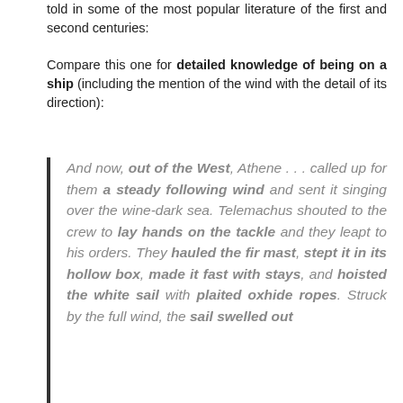told in some of the most popular literature of the first and second centuries:
Compare this one for detailed knowledge of being on a ship (including the mention of the wind with the detail of its direction):
And now, out of the West, Athene . . . called up for them a steady following wind and sent it singing over the wine-dark sea. Telemachus shouted to the crew to lay hands on the tackle and they leapt to his orders. They hauled the fir mast, stept it in its hollow box, made it fast with stays, and hoisted the white sail with plaited oxhide ropes. Struck by the full wind, the sail swelled out